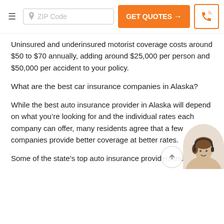ZIP Code  GET QUOTES →  [phone icon]
Uninsured and underinsured motorist coverage costs around $50 to $70 annually, adding around $25,000 per person and $50,000 per accident to your policy.
What are the best car insurance companies in Alaska?
While the best auto insurance provider in Alaska will depend on what you're looking for and the individual rates each company can offer, many residents agree that a few companies provide better coverage at better rates.
Some of the state's top auto insurance providers include: